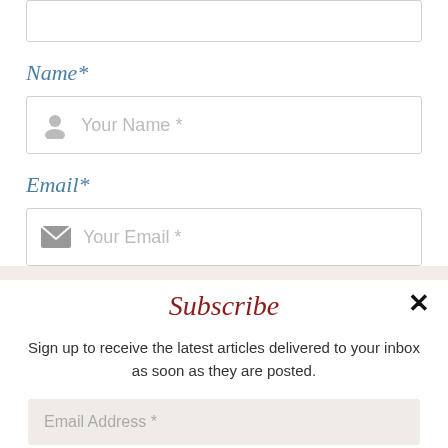[Figure (other): Top text area input box (partially visible, cropped at top)]
Name*
[Figure (other): Name input field with person icon and placeholder text 'Your Name *']
Email*
[Figure (other): Email input field with envelope icon and placeholder text 'Your Email *']
Subscribe
Sign up to receive the latest articles delivered to your inbox as soon as they are posted.
[Figure (other): Email Address input field with placeholder text 'Email Address *']